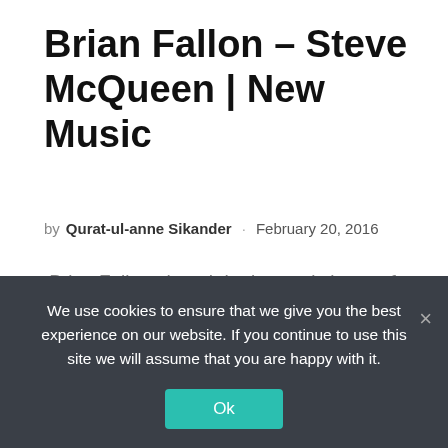Brian Fallon – Steve McQueen | New Music
by Qurat-ul-anne Sikander · February 20, 2016
Brian Fallon, though he is mostly known for his role as the lead singer in The Gaslight...
[Figure (photo): Sky with clouds — blue sky and white clouds visible at top of image]
We use cookies to ensure that we give you the best experience on our website. If you continue to use this site we will assume that you are happy with it.